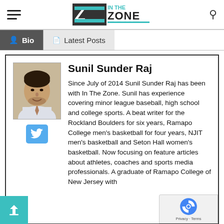IN THE ZONE
Sunil Sunder Raj
Since July of 2014 Sunil Sunder Raj has been with In The Zone. Sunil has experience covering minor league baseball, high school and college sports. A beat writer for the Rockland Boulders for six years, Ramapo College men's basketball for four years, NJIT men's basketball and Seton Hall women's basketball. Now focusing on feature articles about athletes, coaches and sports media professionals. A graduate of Ramapo College of New Jersey with